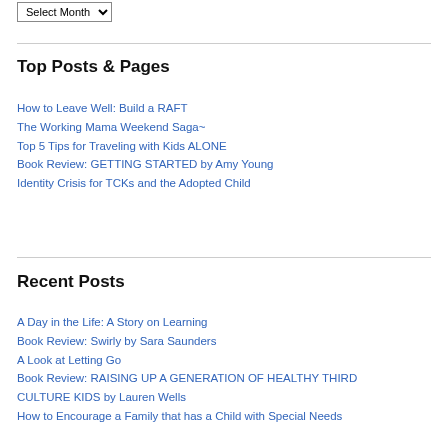Select Month (dropdown)
Top Posts & Pages
How to Leave Well: Build a RAFT
The Working Mama Weekend Saga~
Top 5 Tips for Traveling with Kids ALONE
Book Review: GETTING STARTED by Amy Young
Identity Crisis for TCKs and the Adopted Child
Recent Posts
A Day in the Life: A Story on Learning
Book Review: Swirly by Sara Saunders
A Look at Letting Go
Book Review: RAISING UP A GENERATION OF HEALTHY THIRD
CULTURE KIDS by Lauren Wells
How to Encourage a Family that has a Child with Special Needs